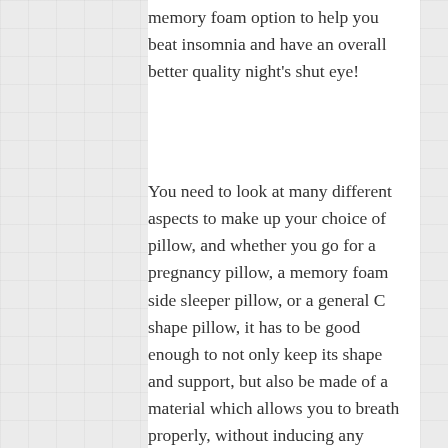memory foam option to help you beat insomnia and have an overall better quality night's shut eye!
You need to look at many different aspects to make up your choice of pillow, and whether you go for a pregnancy pillow, a memory foam side sleeper pillow, or a general C shape pillow, it has to be good enough to not only keep its shape and support, but also be made of a material which allows you to breath properly, without inducing any allergy issues, or causing you to sweat or be cold during your slumber.